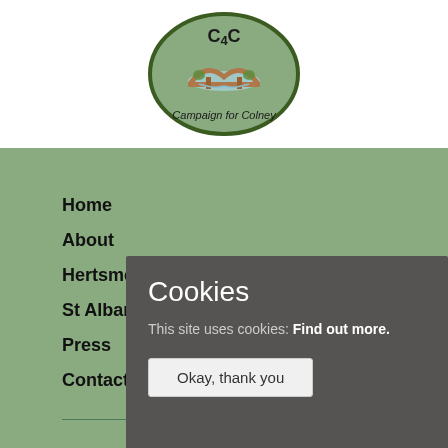[Figure (logo): Campaign for Colney logo: green oval with 'C4C' text at top, a stylized brown bridge illustration with blue water in the center, and 'Campaign for Colney' text at the bottom.]
Home
About
Hertsmere
St Albans
Press
Contact
Local Plan
Cookies
This site uses cookies: Find out more.
Okay, thank you